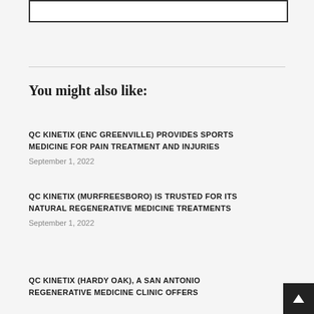[Figure (other): Empty bordered box at top of page]
You might also like:
QC KINETIX (ENC GREENVILLE) PROVIDES SPORTS MEDICINE FOR PAIN TREATMENT AND INJURIES
September 1, 2022
QC KINETIX (MURFREESBORO) IS TRUSTED FOR ITS NATURAL REGENERATIVE MEDICINE TREATMENTS
September 1, 2022
QC KINETIX (HARDY OAK), A SAN ANTONIO REGENERATIVE MEDICINE CLINIC OFFERS